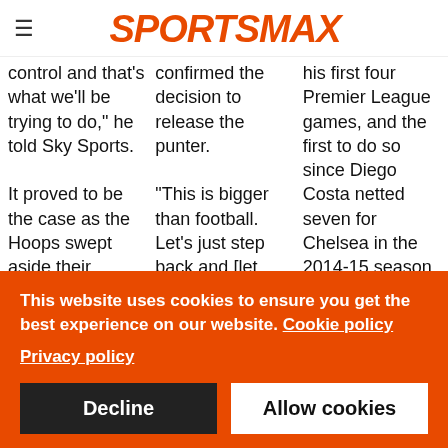SPORTSMAX
control and that's what we'll be trying to do," he told Sky Sports.

It proved to be the case as the Hoops swept aside their opponents to
confirmed the decision to release the punter.

"This is bigger than football. Let's just step back and [let Araiza] go handle this. That's what we thought was
his first four Premier League games, and the first to do so since Diego Costa netted seven for Chelsea in the 2014-15 season.
This website uses cookies to ensure you get the best experience on our website. Cookie policy
Privacy policy
Decline
Allow cookies